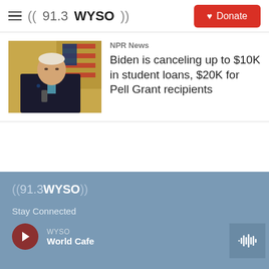((91.3 WYSO)) — Donate
[Figure (photo): Photo of President Biden speaking at a podium with an American flag in the background]
NPR News
Biden is canceling up to $10K in student loans, $20K for Pell Grant recipients
((91.3 WYSO)) Stay Connected WYSO World Cafe